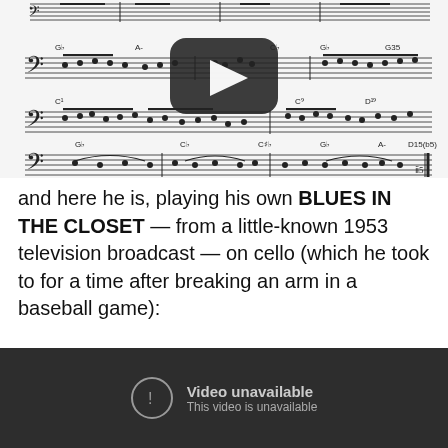[Figure (illustration): Sheet music notation showing bass clef staves with chord symbols (G♭, A-, C♯, C♭, G♭, G35, C1, C9, D19, G♭, C♭, C♯♭, A-, D15(b5)) and a YouTube play button overlay in the upper portion]
and here he is, playing his own BLUES IN THE CLOSET — from a little-known 1953 television broadcast — on cello (which he took to for a time after breaking an arm in a baseball game):
[Figure (screenshot): Dark video player showing 'Video unavailable / This video is unavailable' message with a circular exclamation mark icon]